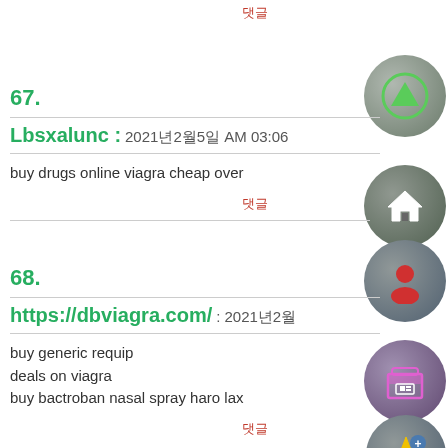댓글
67.
Lbsxalunc : 2021년2월5일 AM 03:06
buy drugs online viagra cheap over
댓글
68.
https://dbviagra.com/ : 2021년2월
buy generic requip
deals on viagra
buy bactroban nasal spray haro lax
댓글